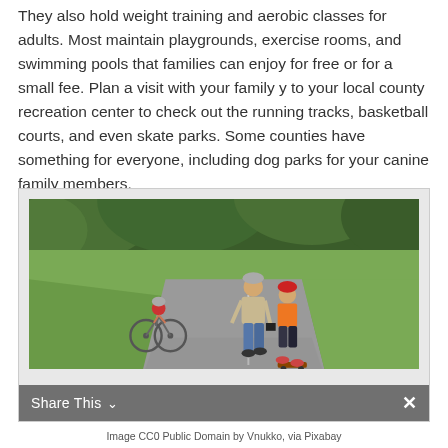They also hold weight training and aerobic classes for adults. Most maintain playgrounds, exercise rooms, and swimming pools that families can enjoy for free or for a small fee. Plan a visit with your family y to your local county recreation center to check out the running tracks, basketball courts, and even skate parks. Some counties have something for everyone, including dog parks for your canine family members.
[Figure (photo): A man and a boy walking/skateboarding on a park path, with a child on a bicycle in the background. Green trees and grass surround the path.]
Image CC0 Public Domain by Vnukko, via Pixabay